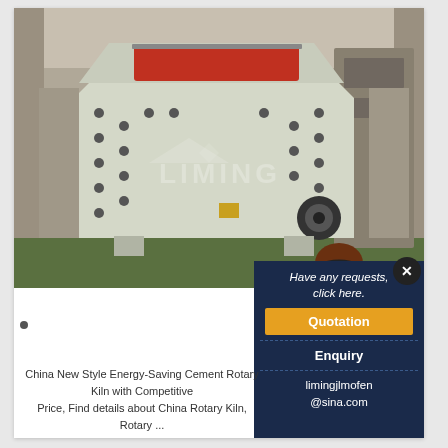[Figure (photo): Large industrial impact crusher / cement rotary kiln machine in pale green color with red hopper opening, photographed in a factory warehouse. LIMING brand watermark visible. Overlaid in bottom-right corner: photo of smiling female customer service representative wearing a headset.]
Have any requests, click here.
Quotation
Enquiry
limingjlmofen@sina.com
China New Style Energy-Saving Cement Rotary Kiln w...
China New Style Energy-Saving Cement Rotary Kiln with Competitive Price, Find details about China Rotary Kiln, Rotary ... New Style Energy-Saving Cement Rotary Kiln with Competitive Pric... Zhongzhou General Mining Machinery Co., Ltd.